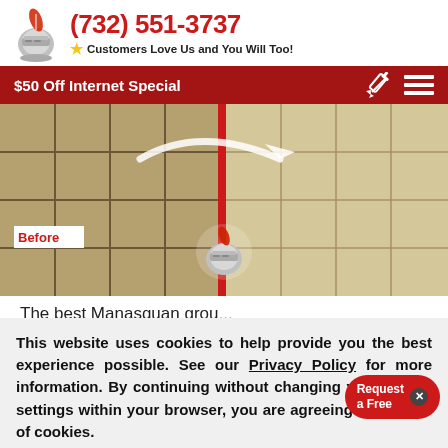(732) 551-3737 — Customers Love Us and You Will Too!
$50 Off Internet Special
[Figure (photo): Before/after comparison of grout cleaning on tile floor with a red divider line and company logo mascot in center, arrow indicating transformation]
Before
The best Manasquan grou...
This website uses cookies to help provide you the best experience possible. See our Privacy Policy for more information. By continuing without changing your cookie settings within your browser, you are agreeing to our use of cookies.
ACCEPT